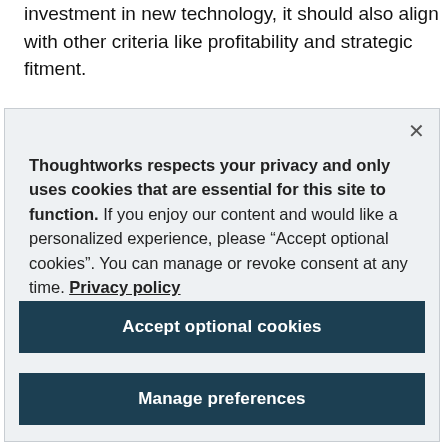investment in new technology, it should also align with other criteria like profitability and strategic fitment.
Thoughtworks respects your privacy and only uses cookies that are essential for this site to function. If you enjoy our content and would like a personalized experience, please “Accept optional cookies”. You can manage or revoke consent at any time. Privacy policy
Accept optional cookies
Manage preferences